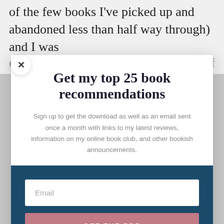of the few books I've picked up and abandoned less than half way through) and I was
cerned this would be similar, but thankfully
Get my top 25 book recommendations
Sign up to get the download as well as an email sent once a month with links to my latest reviews, information on my online book club, and other bookish announcements.
Email
GET THE PDF